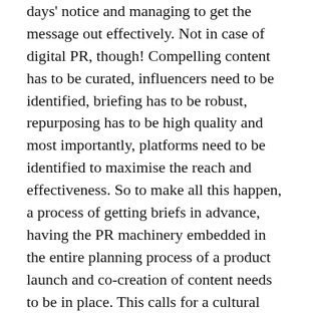days' notice and managing to get the message out effectively. Not in case of digital PR, though! Compelling content has to be curated, influencers need to be identified, briefing has to be robust, repurposing has to be high quality and most importantly, platforms need to be identified to maximise the reach and effectiveness. So to make all this happen, a process of getting briefs in advance, having the PR machinery embedded in the entire planning process of a product launch and co-creation of content needs to be in place. This calls for a cultural change in the way one looks at PR and also the need to institutionalise a process with appropriate expectation setting. It happens when one starts experiencing the robust outcomes.
Traditional PR competencies are well embedded and the expertise is available across members of